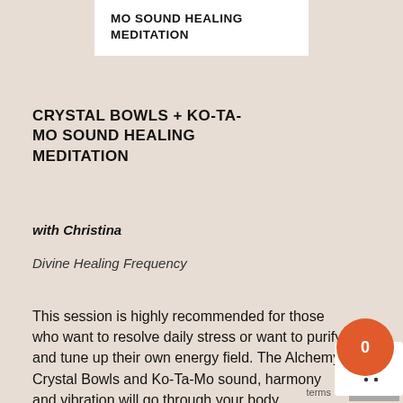MO SOUND HEALING MEDITATION
CRYSTAL BOWLS + KO-TA-MO SOUND HEALING MEDITATION
with Christina
Divine Healing Frequency
This session is highly recommended for those who want to resolve daily stress or want to purify and tune up their own energy field. The Alchemy Crystal Bowls and Ko-Ta-Mo sound, harmony and vibration will go through your body, sweeping out the negative energy accumulated in your mind and body. Let the high frequency vibration heal and ease stress, sleeplessness